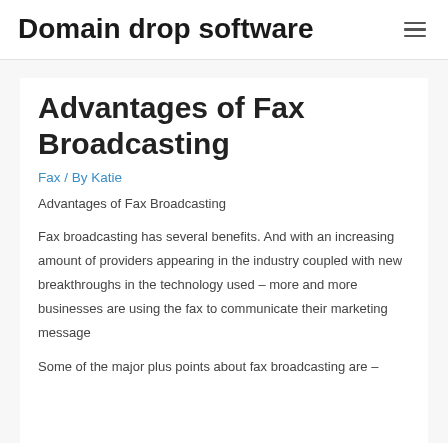Domain drop software
Advantages of Fax Broadcasting
Fax / By Katie
Advantages of Fax Broadcasting
Fax broadcasting has several benefits. And with an increasing amount of providers appearing in the industry coupled with new breakthroughs in the technology used – more and more businesses are using the fax to communicate their marketing message
Some of the major plus points about fax broadcasting are –